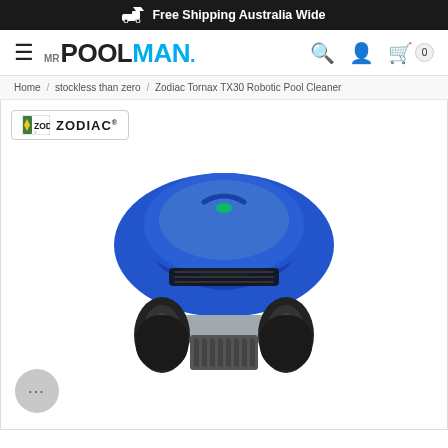Free Shipping Australia Wide
[Figure (logo): Mr Pool Man logo with hamburger menu, search, account and cart icons]
Home / stockless than zero / Zodiac Tornax TX30 Robotic Pool Cleaner
[Figure (logo): Zodiac brand logo badge]
[Figure (photo): Zodiac Tornax TX30 Robotic Pool Cleaner - blue robotic pool cleaner with black tank treads on white background]